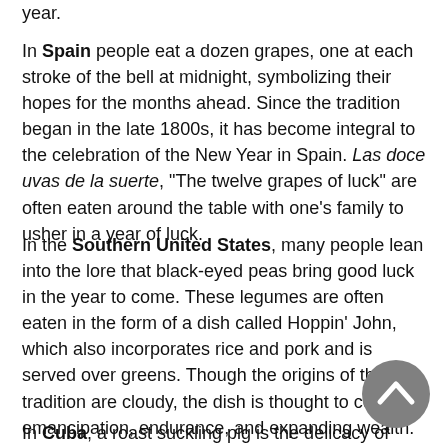year.
In Spain people eat a dozen grapes, one at each stroke of the bell at midnight, symbolizing their hopes for the months ahead. Since the tradition began in the late 1800s, it has become integral to the celebration of the New Year in Spain. Las doce uvas de la suerte, "The twelve grapes of luck" are often eaten around the table with one's family to usher in a year of luck.
In the Southern United States, many people lean into the lore that black-eyed peas bring good luck in the year to come. These legumes are often eaten in the form of a dish called Hoppin' John, which also incorporates rice and pork and is served over greens. Though the origins of this tradition are cloudy, the dish is thought to celebrate emancipation, endurance, and expanding wealth.
In Cuba, a roast suckling pig is the delicacy of choice to